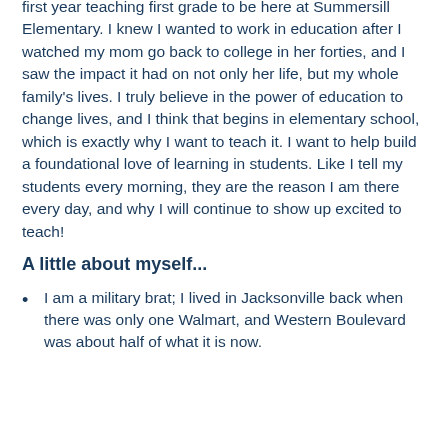first year teaching first grade to be here at Summersill Elementary. I knew I wanted to work in education after I watched my mom go back to college in her forties, and I saw the impact it had on not only her life, but my whole family's lives. I truly believe in the power of education to change lives, and I think that begins in elementary school, which is exactly why I want to teach it. I want to help build a foundational love of learning in students. Like I tell my students every morning, they are the reason I am there every day, and why I will continue to show up excited to teach!
A little about myself...
I am a military brat; I lived in Jacksonville back when there was only one Walmart, and Western Boulevard was about half of what it is now.